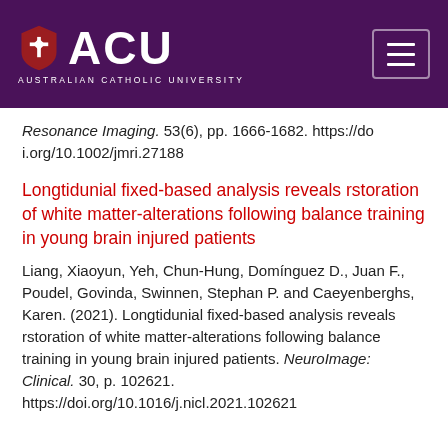[Figure (logo): Australian Catholic University (ACU) logo with shield and hamburger menu button on purple header bar]
Resonance Imaging. 53(6), pp. 1666-1682. https://doi.org/10.1002/jmri.27188
Longtidunial fixed-based analysis reveals rstoration of white matter-alterations following balance training in young brain injured patients
Liang, Xiaoyun, Yeh, Chun-Hung, Domínguez D., Juan F., Poudel, Govinda, Swinnen, Stephan P. and Caeyenberghs, Karen. (2021). Longtidunial fixed-based analysis reveals rstoration of white matter-alterations following balance training in young brain injured patients. NeuroImage: Clinical. 30, p. 102621. https://doi.org/10.1016/j.nicl.2021.102621